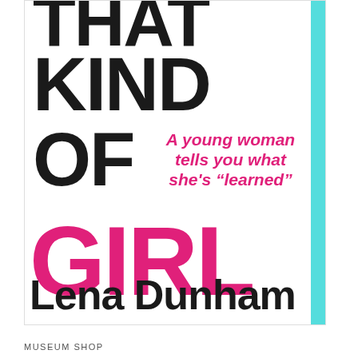[Figure (illustration): Book cover of 'Not That Kind of Girl' by Lena Dunham. Large bold dark text reads 'THAT KIND OF' with 'GIRL' in large hot pink text. A subtitle in hot pink italic reads 'A young woman tells you what she's "learned"'. Author name 'Lena Dunham' in large bold black text at the bottom. A cyan/turquoise vertical bar on the right side.]
MUSEUM SHOP